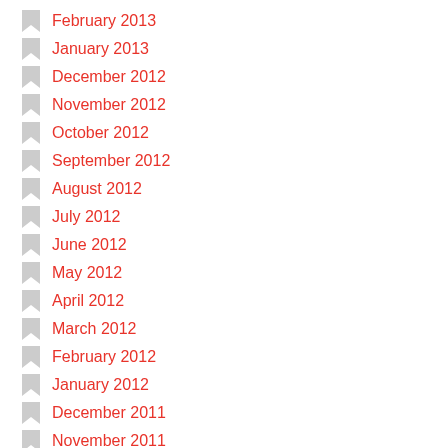February 2013
January 2013
December 2012
November 2012
October 2012
September 2012
August 2012
July 2012
June 2012
May 2012
April 2012
March 2012
February 2012
January 2012
December 2011
November 2011
October 2011
September 2011
August 2011